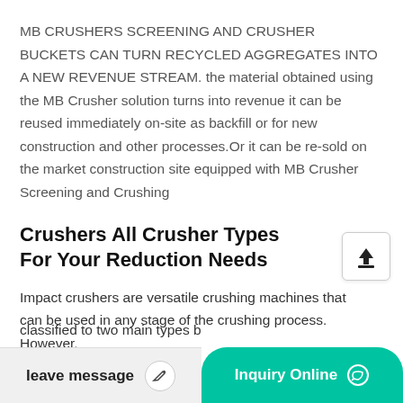MB CRUSHERS SCREENING AND CRUSHER BUCKETS CAN TURN RECYCLED AGGREGATES INTO A NEW REVENUE STREAM. the material obtained using the MB Crusher solution turns into revenue it can be reused immediately on-site as backfill or for new construction and other processes.Or it can be re-sold on the market construction site equipped with MB Crusher Screening and Crushing
Crushers All Crusher Types For Your Reduction Needs
Impact crushers are versatile crushing machines that can be used in any stage of the crushing process. However, the features, capacities and capabilities
classified to two main types b